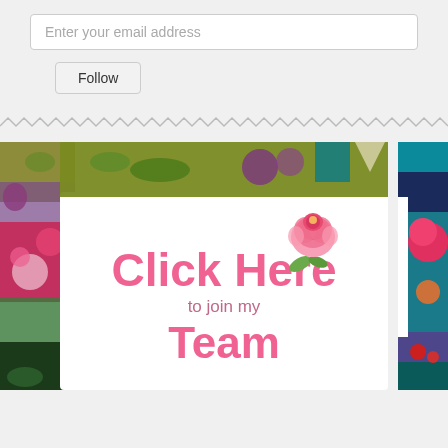Enter your email address
Follow
[Figure (illustration): Decorative card with floral border, a pink watercolor rose, and text reading 'Click Here to join my Team' in pink bold font on white background]